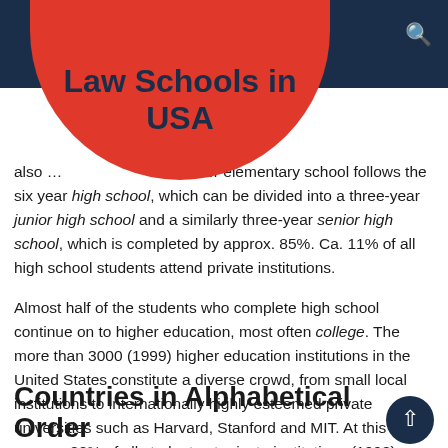Law Schools in USA
also … After elementary school follows the six year high school, which can be divided into a three-year junior high school and a similarly three-year senior high school, which is completed by approx. 85%. Ca. 11% of all high school students attend private institutions.
Almost half of the students who complete high school continue on to higher education, most often college. The more than 3000 (1999) higher education institutions in the United States constitute a diverse crowd, from small local institutions to internationally highly esteemed private universities such as Harvard, Stanford and MIT. At this level, approx. 22% of all students at private institutions (1998).
Countries in Alphabetical Order